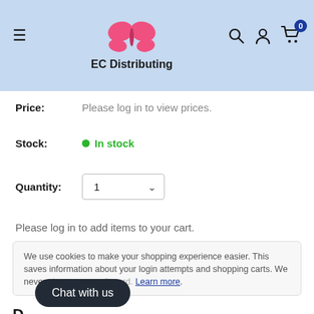EC Distributing
Price: Please log in to view prices.
Stock: In stock
Quantity: 1
Please log in to add items to your cart.
We use cookies to make your shopping experience easier. This saves information about your login attempts and shopping carts. We never store your credit card. Learn more.
Chat with us
Description